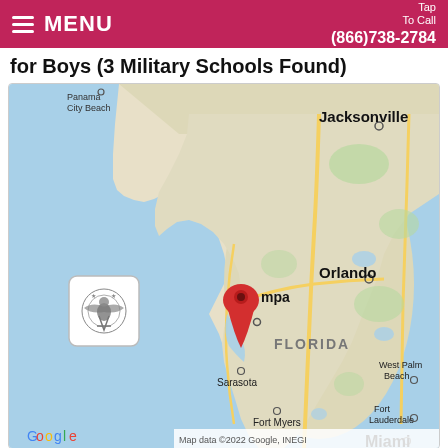MENU   Tap To Call (866)738-2784
for Boys (3 Military Schools Found)
[Figure (map): Google Map of Florida showing a red location pin near Tampa. Visible cities include Jacksonville, Orlando, Tampa, Sarasota, Fort Myers, West Palm Beach, Fort Lauderdale, Miami, and Panama City Beach. A small military school logo badge is shown in the lower-left area of the map. Map data copyright 2022 Google, INEGI.]